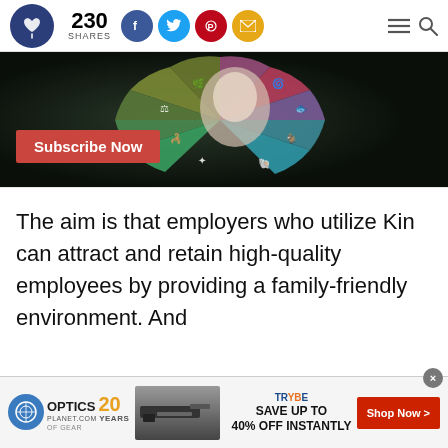230 SHARES — social sharing bar with Facebook, Twitter, Pinterest, Email icons
[Figure (photo): Colorful circular wheel diagram with icons being touched by a finger, with a 'Subscribe Now' red button overlay]
The aim is that employers who utilize Kin can attract and retain high-quality employees by providing a family-friendly environment. And
[Figure (infographic): Optics Planet 20 Years advertisement banner: SAVE UP TO 40% OFF INSTANTLY with Shop Now button, showing a rifle image]